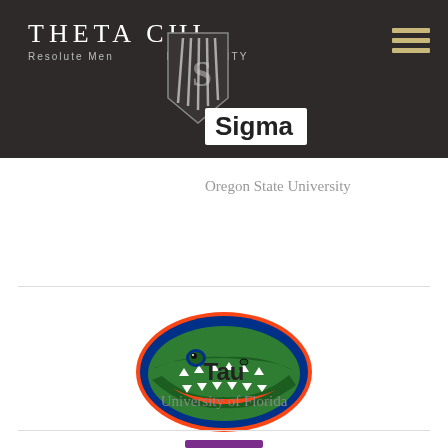THETA CHI Resolute Men FRATERNITY
Sigma
Oregon State University
[Figure (logo): University of Florida Gators logo — orange oval with green alligator head, blue outlines]
Tau
University of Florida